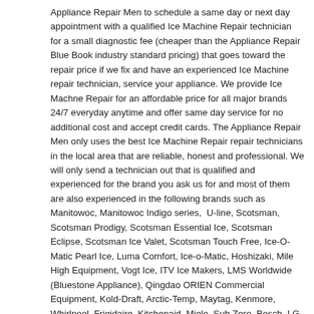Appliance Repair Men to schedule a same day or next day appointment with a qualified Ice Machine Repair technician for a small diagnostic fee (cheaper than the Appliance Repair Blue Book industry standard pricing) that goes toward the repair price if we fix and have an experienced Ice Machine repair technician, service your appliance. We provide Ice Machne Repair for an affordable price for all major brands 24/7 everyday anytime and offer same day service for no additional cost and accept credit cards. The Appliance Repair Men only uses the best Ice Machine Repair repair technicians in the local area that are reliable, honest and professional. We will only send a technician out that is qualified and experienced for the brand you ask us for and most of them are also experienced in the following brands such as Manitowoc, Manitowoc Indigo series,  U-line, Scotsman, Scotsman Prodigy, Scotsman Essential Ice, Scotsman Eclipse, Scotsman Ice Valet, Scotsman Touch Free, Ice-O-Matic Pearl Ice, Luma Comfort, Ice-o-Matic, Hoshizaki, Mile High Equipment, Vogt Ice, ITV Ice Makers, LMS Worldwide (Bluestone Appliance), Qingdao ORIEN Commercial Equipment, Kold-Draft, Arctic-Temp, Maytag, Kenmore, Whirlpool, Frigidaire, Kitchenaid, Miele, Sub Zero, Bosch, LG, Samsung, GE, GE Monogram, Hotpoint, Wolf, Viking, Thermador, Roper, Amana, Jenn-air, Dacor, Wolf, Electrolux, Haier, Caloric, Tappan, Sears, Uline and many many more. Same day Ice Maker repair, Ice Maker installation, ac repair, offering best pricing, affordable pricing, emergency Ice Machine repair and weekend repair.